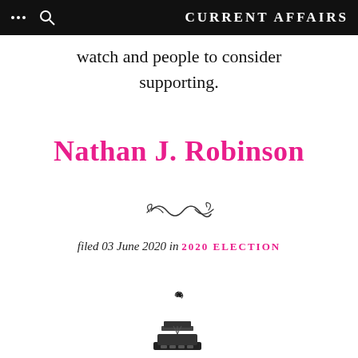CURRENT AFFAIRS
watch and people to consider supporting.
Nathan J. Robinson
[Figure (illustration): Decorative flourish/swirl divider ornament]
filed 03 June 2020 in 2020 ELECTION
[Figure (logo): Current Affairs circular logo with typewriter illustration and text 'CURRENT AFFAIRS' arranged in a circle]